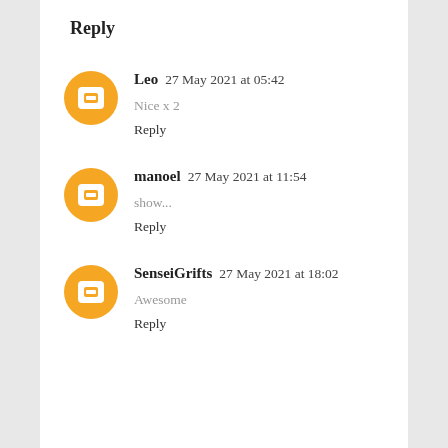Reply
Leo  27 May 2021 at 05:42
Nice x 2
Reply
manoel  27 May 2021 at 11:54
show...
Reply
SenseiGrifts  27 May 2021 at 18:02
Awesome
Reply